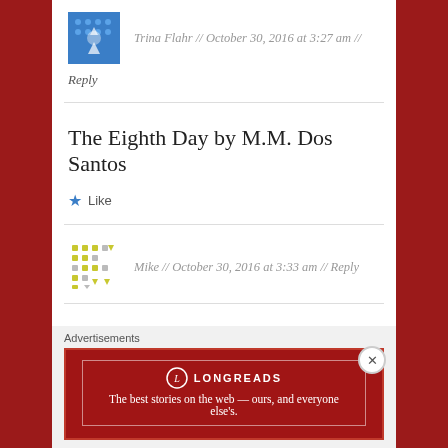Trina Flahr // October 30, 2016 at 3:27 am //
Reply
The Eighth Day by M.M. Dos Santos
Like
Mike // October 30, 2016 at 3:33 am // Reply
The Eighth Day – M.M. Dos Santos
Like
Advertisements
[Figure (logo): Longreads advertisement banner: 'The best stories on the web — ours, and everyone else's.']